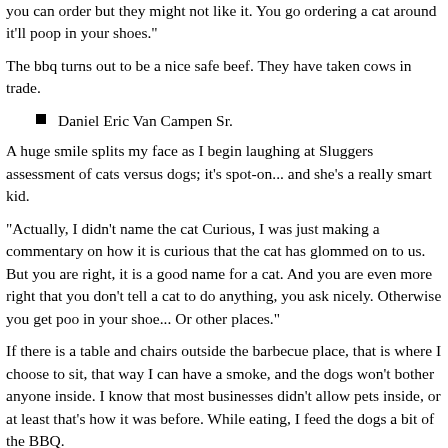you can order but they might not like it. You go ordering a cat around it'll poop in your shoes."
The bbq turns out to be a nice safe beef. They have taken cows in trade.
Daniel Eric Van Campen Sr.
A huge smile splits my face as I begin laughing at Sluggers assessment of cats versus dogs; it's spot-on... and she's a really smart kid.
"Actually, I didn't name the cat Curious, I was just making a commentary on how it is curious that the cat has glommed on to us. But you are right, it is a good name for a cat. And you are even more right that you don't tell a cat to do anything, you ask nicely. Otherwise you get poo in your shoe... Or other places."
If there is a table and chairs outside the barbecue place, that is where I choose to sit, that way I can have a smoke, and the dogs won't bother anyone inside. I know that most businesses didn't allow pets inside, or at least that's how it was before. While eating, I feed the dogs a bit of the BBQ.